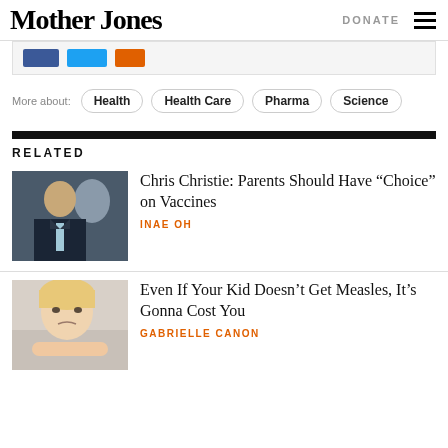Mother Jones | DONATE
[Figure (screenshot): Social media sharing icons strip: Facebook, Twitter, email buttons]
More about: Health | Health Care | Pharma | Science
RELATED
[Figure (photo): Photo of Chris Christie, a man in a suit speaking]
Chris Christie: Parents Should Have “Choice” on Vaccines
INAE OH
[Figure (photo): Photo of a young child resting chin on hands, looking bored or sad]
Even If Your Kid Doesn’t Get Measles, It’s Gonna Cost You
GABRIELLE CANON